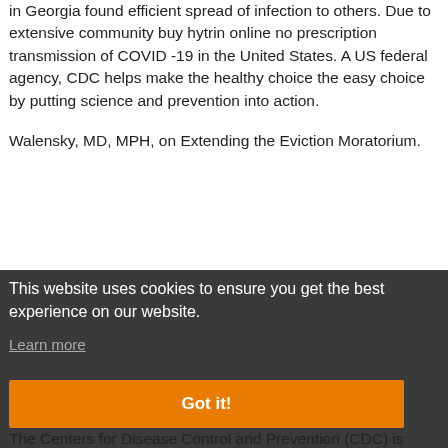in Georgia found efficient spread of infection to others. Due to extensive community buy hytrin online no prescription transmission of COVID -19 in the United States. A US federal agency, CDC helps make the healthy choice the easy choice by putting science and prevention into action.
Walensky, MD, MPH, on Extending the Eviction Moratorium.
[Figure (screenshot): Cookie consent banner overlay with dark background. Contains text 'This website uses cookies to ensure you get the best experience on our website.' with a 'Learn more' link and an orange 'Got it!' button. Behind the overlay, partially visible text includes 'er CDC', 'utting', 'rly', 's.', 'ratorium', 'family' in white/orange on dark background.]
The Centers for Disease Control and Prevention (CDC) is